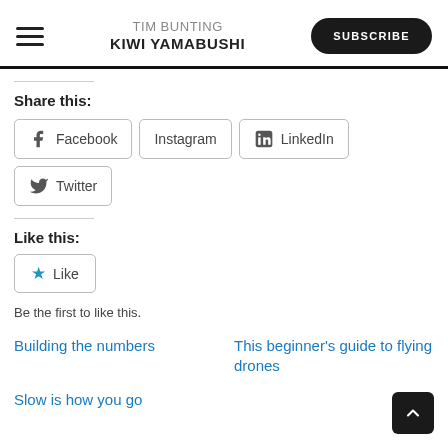TIM BUNTING KIWI YAMABUSHI
Share this:
Facebook
Instagram
LinkedIn
Twitter
Like this:
Like
Be the first to like this.
Building the numbers
This beginner's guide to flying drones
Slow is how you go